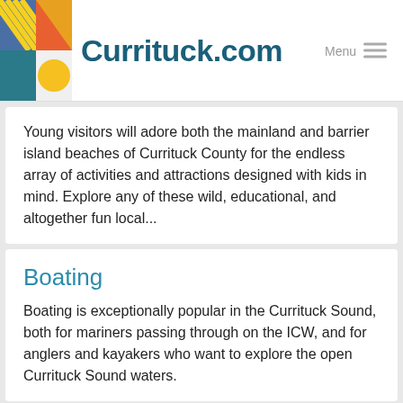Currituck.com
Young visitors will adore both the mainland and barrier island beaches of Currituck County for the endless array of activities and attractions designed with kids in mind. Explore any of these wild, educational, and altogether fun local...
Boating
Boating is exceptionally popular in the Currituck Sound, both for mariners passing through on the ICW, and for anglers and kayakers who want to explore the open Currituck Sound waters.
Sailing the Outer Banks